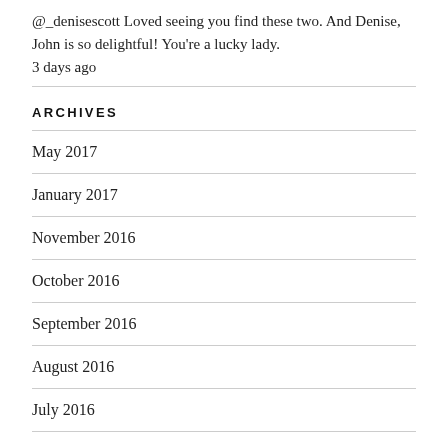@_denisescott Loved seeing you find these two. And Denise, John is so delightful! You're a lucky lady.
3 days ago
ARCHIVES
May 2017
January 2017
November 2016
October 2016
September 2016
August 2016
July 2016